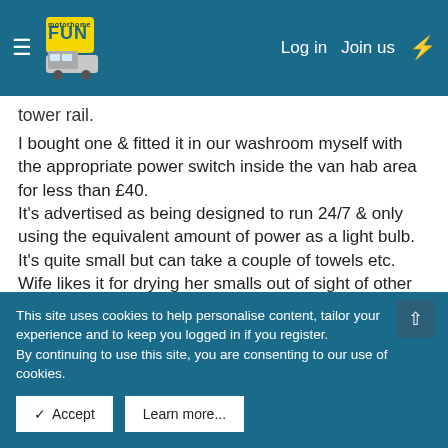motorhome FUN — Log in  Join us
tower rail.
I bought one & fitted it in our washroom myself with the appropriate power switch inside the van hab area for less than £40. It's advertised as being designed to run 24/7 & only using the equivalent amount of power as a light bulb. It's quite small but can take a couple of towels etc. Wife likes it for drying her smalls out of sight of other campers😊
↩ Reply
Judge Mental
This site uses cookies to help personalise content, tailor your experience and to keep you logged in if you register. By continuing to use this site, you are consenting to our use of cookies.